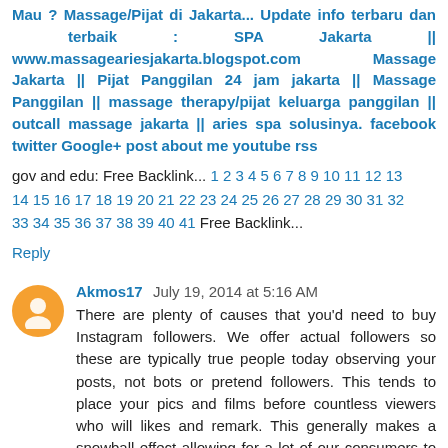Mau ? Massage/Pijat di Jakarta... Update info terbaru dan terbaik : SPA Jakarta || www.massageariesjakarta.blogspot.com Massage Jakarta || Pijat Panggilan 24 jam jakarta || Massage Panggilan || massage therapy/pijat keluarga panggilan || outcall massage jakarta || aries spa solusinya. facebook twitter Google+ post about me youtube rss
gov and edu: Free Backlink... 1 2 3 4 5 6 7 8 9 10 11 12 13 14 15 16 17 18 19 20 21 22 23 24 25 26 27 28 29 30 31 32 33 34 35 36 37 38 39 40 41 Free Backlink...
Reply
Akmos17 July 19, 2014 at 5:16 AM
There are plenty of causes that you'd need to buy Instagram followers. We offer actual followers so these are typically true people today observing your posts, not bots or pretend followers. This tends to place your pics and films before countless viewers who will likes and remark. This generally makes a snowball effect allowing for a lot of our consumers to go viral news...